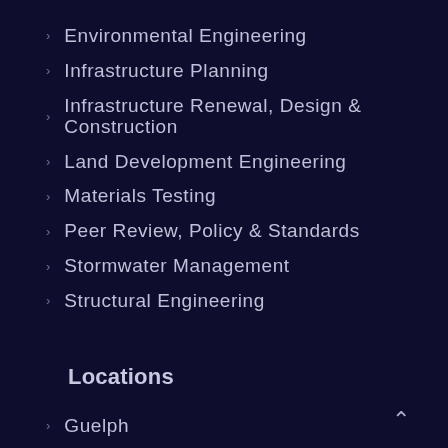Environmental Engineering
Infrastructure Planning
Infrastructure Renewal, Design & Construction
Land Development Engineering
Materials Testing
Peer Review, Policy & Standards
Stormwater Management
Structural Engineering
Locations
Guelph
Hamilton
Kitchener
Listowel